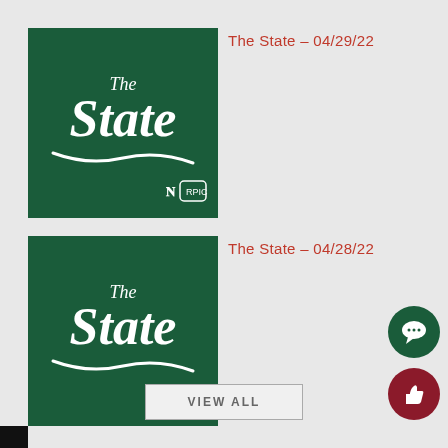[Figure (logo): The State newspaper logo on dark green background with white script text reading 'The State' and small icons in bottom right corner]
The State – 04/29/22
[Figure (logo): The State newspaper logo on dark green background with white script text reading 'The State' and small icons in bottom right corner]
The State – 04/28/22
VIEW ALL